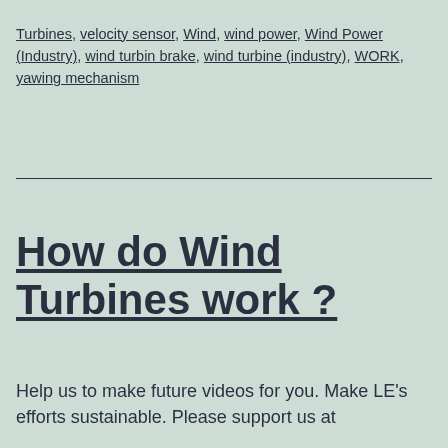Turbines, velocity sensor, Wind, wind power, Wind Power (Industry), wind turbin brake, wind turbine (industry), WORK, yawing mechanism
How do Wind Turbines work ?
Help us to make future videos for you. Make LE's efforts sustainable. Please support us at